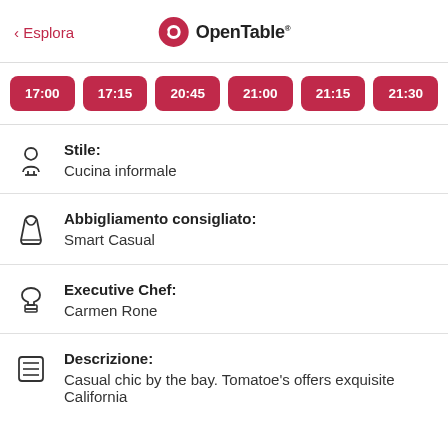< Esplora  OpenTable
17:00
17:15
20:45
21:00
21:15
21:30
Stile:
Cucina informale
Abbigliamento consigliato:
Smart Casual
Executive Chef:
Carmen Rone
Descrizione:
Casual chic by the bay. Tomatoe's offers exquisite California